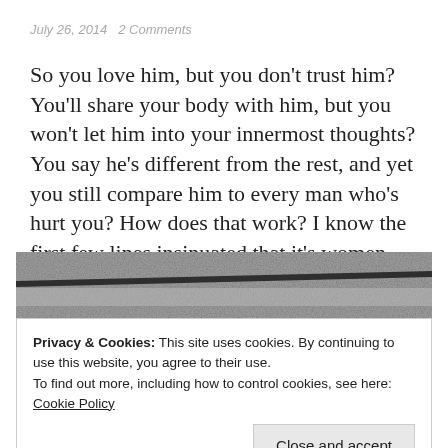July 26, 2014   2 Comments
So you love him, but you don't trust him? You'll share your body with him, but you won't let him into your innermost thoughts? You say he's different from the rest, and yet you still compare him to every man who's hurt you? How does that work? I know the first few lines insinuated that it's women … Continue reading
[Figure (photo): Grayscale photograph showing a wooden surface or floor with a dark diagonal line/edge and some markings]
Privacy & Cookies: This site uses cookies. By continuing to use this website, you agree to their use.
To find out more, including how to control cookies, see here: Cookie Policy
Close and accept